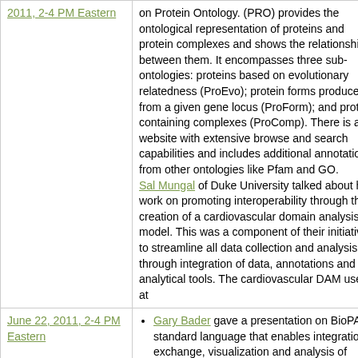| Date | Content |
| --- | --- |
| 2011, 2-4 PM Eastern | on Protein Ontology. (PRO) provides the ontological representation of proteins and protein complexes and shows the relationships between them. It encompasses three sub-ontologies: proteins based on evolutionary relatedness (ProEvo); protein forms produced from a given gene locus (ProForm); and protein-containing complexes (ProComp). There is a website with extensive browse and search capabilities and includes additional annotations from other ontologies like Pfam and GO.
Sal Mungal of Duke University talked about his work on promoting interoperability through the creation of a cardiovascular domain analysis model. This was a component of their initiative to streamline all data collection and analysis through integration of data, annotations and analytical tools. The cardiovascular DAM uses at |
| June 22, 2011, 2-4 PM Eastern | Gary Bader gave a presentation on BioPAX a standard language that enables integration, exchange, visualization and analysis of biological pathway data. BioPAX underlies the integration of public database content in Pathwaycommons.org, which has a comprehensive directory of interaction and |